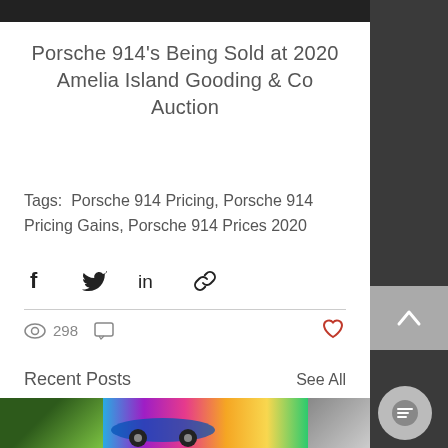Porsche 914's Being Sold at 2020 Amelia Island Gooding & Co Auction
Tags:  Porsche 914 Pricing, Porsche 914 Pricing Gains, Porsche 914 Prices 2020
[Figure (other): Social share icons: Facebook, Twitter, LinkedIn, link copy]
[Figure (other): Stats row: 298 views, comment icon, heart/like button]
Recent Posts
See All
[Figure (photo): Three thumbnail images for recent posts]